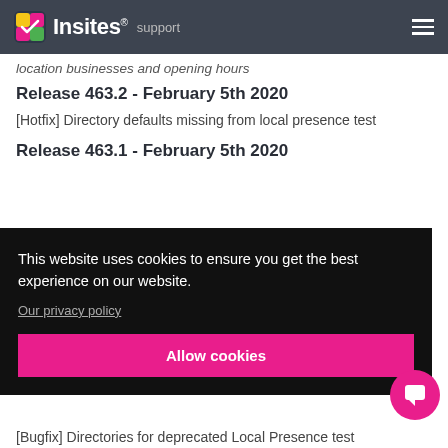Insites support
location businesses and opening hours
Release 463.2 - February 5th 2020
[Hotfix] Directory defaults missing from local presence test
Release 463.1 - February 5th 2020
This website uses cookies to ensure you get the best experience on our website.
Our privacy policy
Allow cookies
rison
[Bugfix] Directories for deprecated Local Presence test